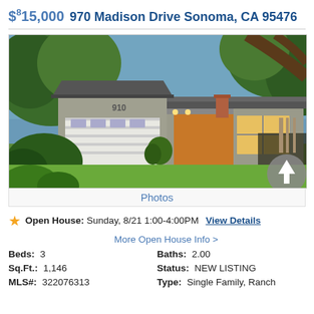$815,000  970 Madison Drive Sonoma, CA 95476
[Figure (photo): Exterior photo of a single-story ranch-style home at 970 Madison Drive, Sonoma, CA. The house has gray siding, a large two-car garage with white door, a covered entry with warm lighting, green lawn, and trees overhead.]
Photos
Open House:  Sunday, 8/21 1:00-4:00PM   View Details
More Open House Info >
Beds: 3    Baths: 2.00
Sq.Ft.: 1,146    Status: NEW LISTING
MLS#: 322076313    Type: Single Family, Ranch